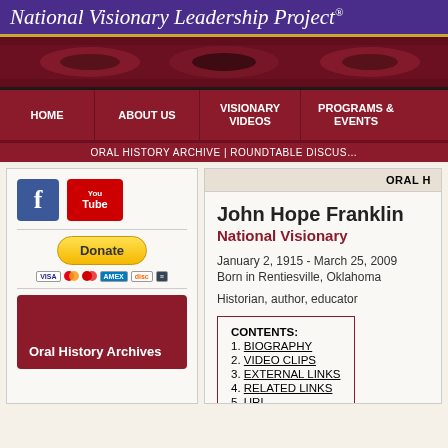National Visionary Leadership Project®
[Figure (photo): Horizontal strip showing close-up eyes of multiple people with red/maroon toned coloring]
HOME | ABOUT US | VISIONARY VIDEOS | PROGRAMS & EVENTS
ORAL HISTORY ARCHIVE | ROUNDTABLE DISCUS...
[Figure (logo): Facebook logo icon (blue square with white f)]
[Figure (logo): YouTube logo icon (red square with You/Tube text)]
Donate
[Figure (infographic): Payment method icons: VISA, Mastercard, Mastercard, American Express, Discover, other card]
Oral History Archives
ORAL H
John Hope Franklin
National Visionary
January 2, 1915 - March 25, 2009
Born in Rentiesville, Oklahoma

Historian, author, educator
| CONTENTS: |
| --- |
| 1. BIOGRAPHY |
| 2. VIDEO CLIPS |
| 3. EXTERNAL LINKS |
| 4. RELATED LINKS |
| 5. URL |